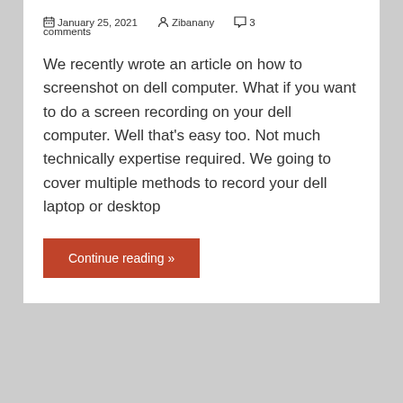January 25, 2021   Zibanany   3 comments
We recently wrote an article on how to screenshot on dell computer. What if you want to do a screen recording on your dell computer. Well that's easy too. Not much technically expertise required. We going to cover multiple methods to record your dell laptop or desktop
Continue reading »